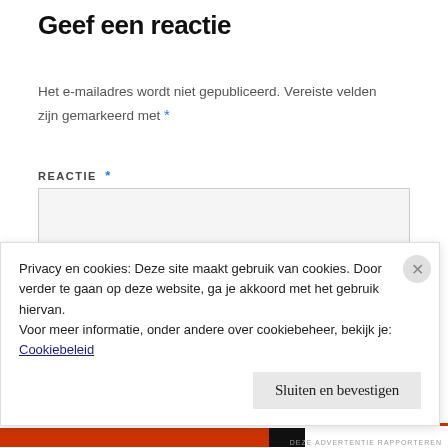Geef een reactie
Het e-mailadres wordt niet gepubliceerd. Vereiste velden zijn gemarkeerd met *
REACTIE *
[Figure (screenshot): Empty textarea input box with light gray background]
Privacy en cookies: Deze site maakt gebruik van cookies. Door verder te gaan op deze website, ga je akkoord met het gebruik hiervan.
Voor meer informatie, onder andere over cookiebeheer, bekijk je: Cookiebeleid
Sluiten en bevestigen